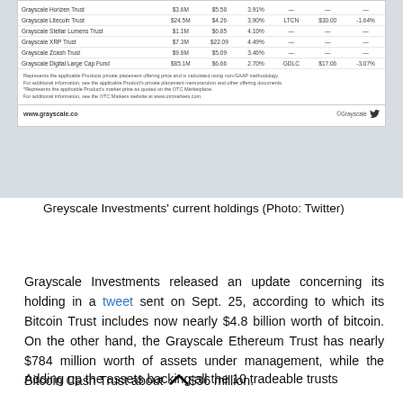[Figure (screenshot): Screenshot of Grayscale Investments holdings table showing trust names, AUM, prices, premium rates, ticker symbols, market prices, and performance. Includes footnotes and www.grayscale.co footer with Twitter logo.]
Greyscale Investments' current holdings (Photo: Twitter)
Grayscale Investments released an update concerning its holding in a tweet sent on Sept. 25, according to which its Bitcoin Trust includes now nearly $4.8 billion worth of bitcoin. On the other hand, the Grayscale Ethereum Trust has nearly $784 million worth of assets under management, while the Bitcoin Cash Trust about $36 million.
Adding up the assets backing all the 10 tradeable trusts